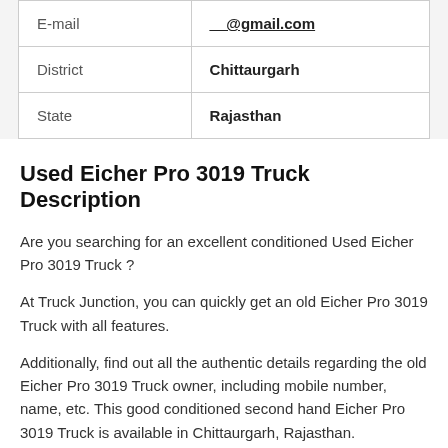| E-mail | __@gmail.com |
| District | Chittaurgarh |
| State | Rajasthan |
Used Eicher Pro 3019 Truck Description
Are you searching for an excellent conditioned Used Eicher Pro 3019 Truck ?
At Truck Junction, you can quickly get an old Eicher Pro 3019 Truck with all features.
Additionally, find out all the authentic details regarding the old Eicher Pro 3019 Truck owner, including mobile number, name, etc. This good conditioned second hand Eicher Pro 3019 Truck is available in Chittaurgarh, Rajasthan.